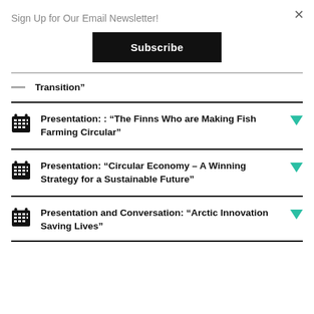Sign Up for Our Email Newsletter!
Subscribe
Transition”
Presentation: : “The Finns Who are Making Fish Farming Circular”
Presentation: “Circular Economy – A Winning Strategy for a Sustainable Future”
Presentation and Conversation: “Arctic Innovation Saving Lives”